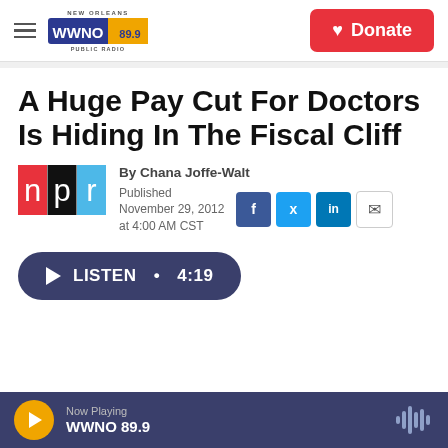WWNO 89.9 New Orleans Public Radio — Donate
A Huge Pay Cut For Doctors Is Hiding In The Fiscal Cliff
[Figure (logo): NPR logo — red, black, and blue squares spelling n p r]
By Chana Joffe-Walt
Published November 29, 2012 at 4:00 AM CST
LISTEN • 4:19
Now Playing WWNO 89.9